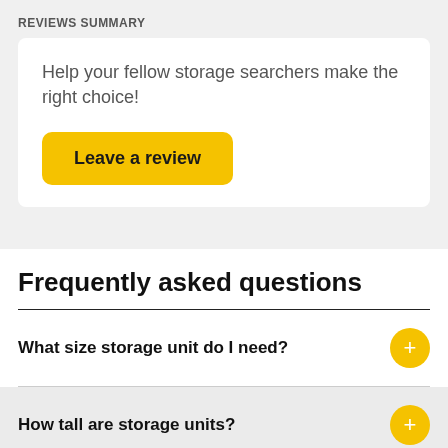REVIEWS SUMMARY
Help your fellow storage searchers make the right choice!
Leave a review
Frequently asked questions
What size storage unit do I need?
How tall are storage units?
Do I need climate-controlled storage?